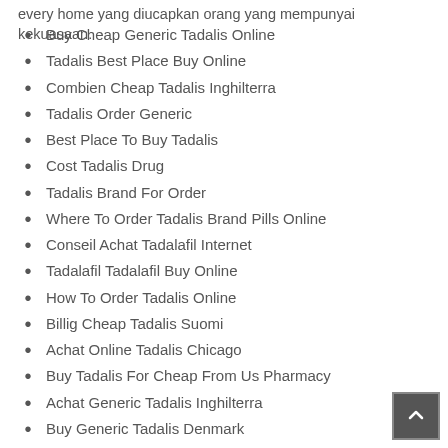every home yang diucapkan orang yang mempunyai kekuasaan.
Buy Cheap Generic Tadalis Online
Tadalis Best Place Buy Online
Combien Cheap Tadalis Inghilterra
Tadalis Order Generic
Best Place To Buy Tadalis
Cost Tadalis Drug
Tadalis Brand For Order
Where To Order Tadalis Brand Pills Online
Conseil Achat Tadalafil Internet
Tadalafil Tadalafil Buy Online
How To Order Tadalis Online
Billig Cheap Tadalis Suomi
Achat Online Tadalis Chicago
Buy Tadalis For Cheap From Us Pharmacy
Achat Generic Tadalis Inghilterra
Buy Generic Tadalis Denmark